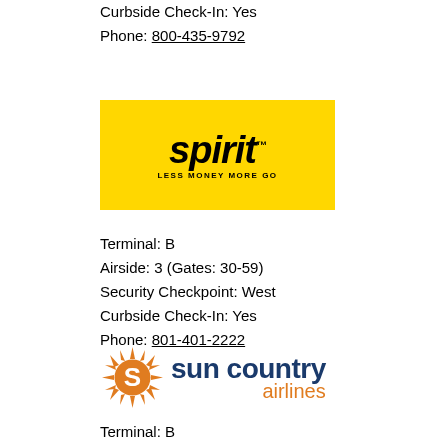Curbside Check-In: Yes
Phone: 800-435-9792
[Figure (logo): Spirit Airlines logo — yellow background with bold italic 'spirit' text and tagline 'LESS MONEY MORE GO']
Terminal: B
Airside: 3 (Gates: 30-59)
Security Checkpoint: West
Curbside Check-In: Yes
Phone: 801-401-2222
[Figure (logo): Sun Country Airlines logo — orange starburst S icon with 'sun country' in dark blue and 'airlines' in orange]
Terminal: B
Airside: 4 (Gates: 70-99)